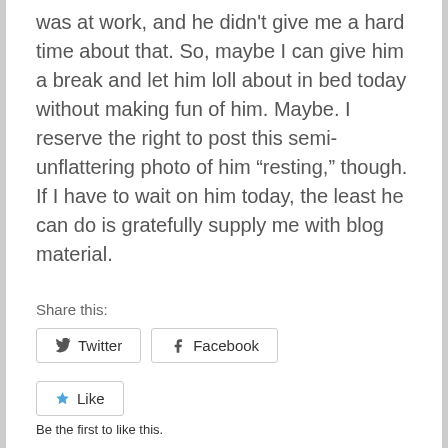was at work, and he didn't give me a hard time about that. So, maybe I can give him a break and let him loll about in bed today without making fun of him. Maybe. I reserve the right to post this semi-unflattering photo of him “resting,” though. If I have to wait on him today, the least he can do is gratefully supply me with blog material.
Share this:
Twitter
Facebook
Like
Be the first to like this.